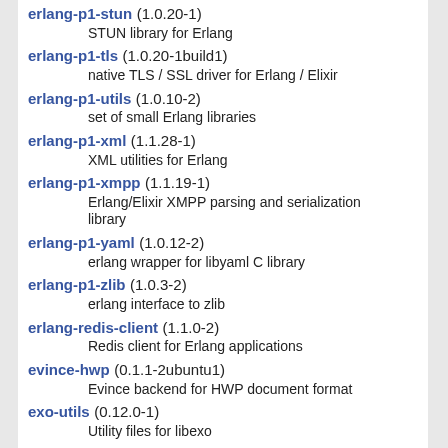erlang-p1-stun (1.0.20-1)
    STUN library for Erlang
erlang-p1-tls (1.0.20-1build1)
    native TLS / SSL driver for Erlang / Elixir
erlang-p1-utils (1.0.10-2)
    set of small Erlang libraries
erlang-p1-xml (1.1.28-1)
    XML utilities for Erlang
erlang-p1-xmpp (1.1.19-1)
    Erlang/Elixir XMPP parsing and serialization library
erlang-p1-yaml (1.0.12-2)
    erlang wrapper for libyaml C library
erlang-p1-zlib (1.0.3-2)
    erlang interface to zlib
erlang-redis-client (1.1.0-2)
    Redis client for Erlang applications
evince-hwp (0.1.1-2ubuntu1)
    Evince backend for HWP document format
exo-utils (0.12.0-1)
    Utility files for libexo
extra-cmake-modules (5.44.0-0ubuntu1)
    Extra modules and scripts for CMake
eztrace (1.1-7-3ubuntu1)
    Automatic execution trace generation for HPC - tools
fcitx-frontend-qt5 (1.1.1-1build3)
    Free Chinese Input Toy of X -- Qt5 IM Module